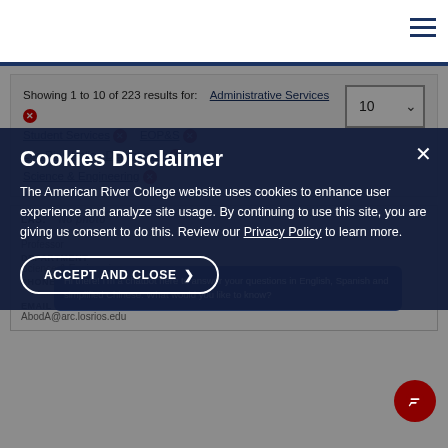American River College navigation header
Showing 1 to 10 of 223 results for: Administrative Services ✕ Student Services ✕ EOP&S ✕ Los Rios Police Department ✕ Science & Engineering ✕ Workforce & Economic Development ✕
Cookies Disclaimer
The American River College website uses cookies to enhance user experience and analyze site usage. By continuing to use this site, you are giving us consent to do this. Review our Privacy Policy to learn more.
ACCEPT AND CLOSE
LAS: ... Hi there! I'm a chatbot here to answer your questions in English, Spanish and simplified Chinese. What would you like to know?
TITLE: Professor
DEPARTMENT: Science & Engineering
PHONE:
EMAIL: AbodA@arc.losrios.edu